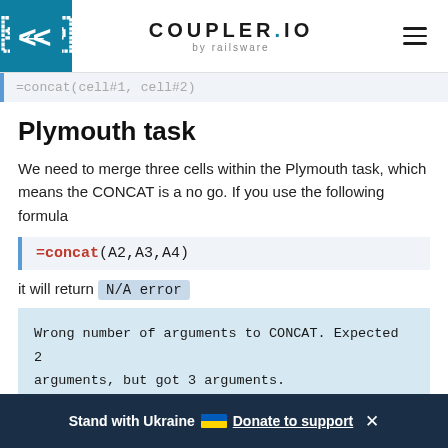COUPLER.IO by railsware
=concat(cell#1, cell#2)
Plymouth task
We need to merge three cells within the Plymouth task, which means the CONCAT is a no go. If you use the following formula
it will return N/A error
Wrong number of arguments to CONCAT. Expected 2 arguments, but got 3 arguments.
Stand with Ukraine — Donate to support